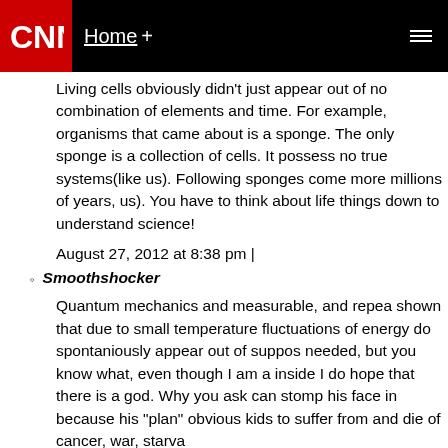CNN  Home +
Living cells obviously didn't just appear out of no combination of elements and time. For example, organisms that came about is a sponge. The only sponge is a collection of cells. It possess no true systems(like us). Following sponges come more millions of years, us). You have to think about life things down to understand science!
August 27, 2012 at 8:38 pm |
Smoothshocker
Quantum mechanics and measurable, and repea shown that due to small temperature fluctuations of energy do spontaniously appear out of suppos needed, but you know what, even though I am a inside I do hope that there is a god. Why you ask can stomp his face in because his "plan" obvious kids to suffer from and die of cancer, war, starva
August 27, 2012 at 8:41 pm |